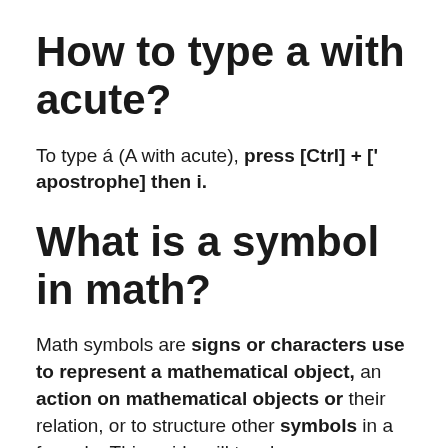How to type a with acute?
To type á (A with acute), press [Ctrl] + [' apostrophe] then i.
What is a symbol in math?
Math symbols are signs or characters use to represent a mathematical object, an action on mathematical objects or their relation, or to structure other symbols in a formula. This guide will teach...
What is a Symbol?